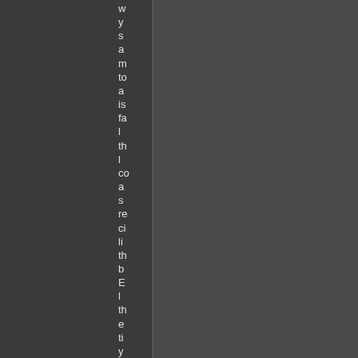w y s a a m to a is fa l th l co a s re ci li th b E l th e ti y ta le p o